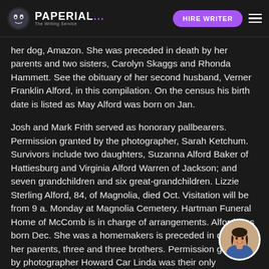PAPERIAL... HIRE WRITER
her dog, Amazon. She was preceded in death by her parents and two sisters, Carolyn Skaggs and Rhonda Hammett. See the obituary of her second husband, Verner Franklin Alford, in this compilation. On the census his birth date is listed as May Alford was born on Jan.
Josh and Mark Frith served as honorary pallbearers. Permission granted by the photographer, Sarah Ketchum. Survivors include two daughters, Suzanna Alford Baker of Hattiesburg and Virginia Alford Warren of Jackson; and seven grandchildren and six great-grandchildren. Lizzie Sterling Alford, 84, of Magnolia, died Oct. Visitation will be from 9 a. Monday at Magnolia Cemetery. Hartman Funeral Home of McComb is in charge of arrangements. Alford was born Dec. She was a homemaker is preceded in death by her parents, three and three brothers. Permission granted by photographer Howard Car Linda was their only
[Figure (photo): Chat avatar showing a smiling woman with dark hair, circular photo in bottom right corner]